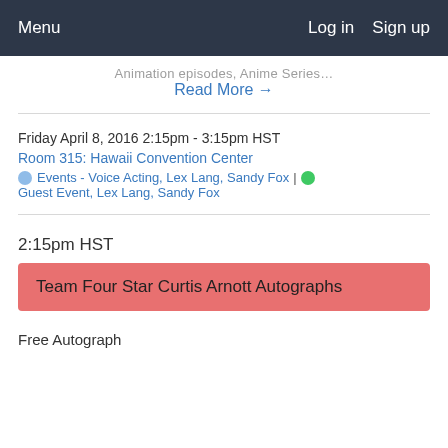Menu  Log in  Sign up
Animation episodes, Anime Series...
Read More →
Friday April 8, 2016 2:15pm - 3:15pm HST
Room 315: Hawaii Convention Center
Events - Voice Acting, Lex Lang, Sandy Fox | Guest Event, Lex Lang, Sandy Fox
2:15pm HST
Team Four Star Curtis Arnott Autographs
Free Autograph